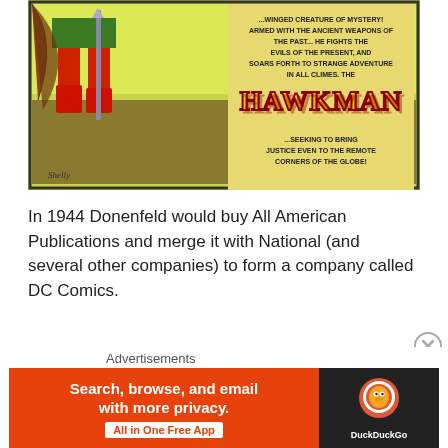[Figure (illustration): Vintage comic book panel showing Hawkman — a winged hero in green and red costume with ancient weapons. Text reads: '...winged creature of mystery! Armed with the ancient weapons of the past... he fights the evils of the present, and soars forth to strange adventure in all climes. The HAWKMAN ...seeking to bring justice even to the remote corners of the globe!' Signed 'Shelly' at bottom left.]
In 1944 Donenfeld would buy All American Publications and merge it with National (and several other companies) to form a company called DC Comics.
[Figure (photo): Broken image placeholder with alt text 'Image result for dc comics logo']
Advertisements — DuckDuckGo ad: Search, browse, and email with more privacy. All in One Free App